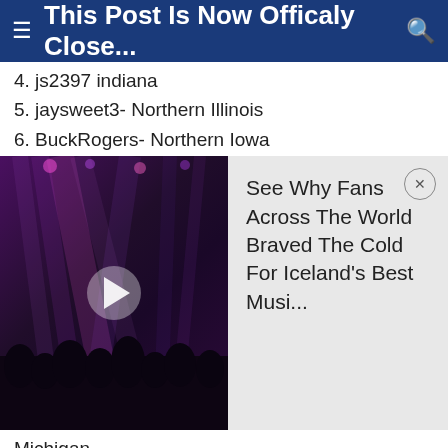≡ This Post Is Now Officaly Close... 🔍
4. js2397 indiana
5. jaysweet3- Northern Illinois
6. BuckRogers- Northern Iowa
[Figure (photo): Concert stage photo with colorful lights, crowd silhouettes, and a play button overlay]
See Why Fans Across The World Braved The Cold For Iceland's Best Musi...
Michigan
12. Manuman--Georgia
13. djschuett- South Central Iowa
14. 30yd-max-Manitoba
15. Peakrut - Wisconsin
16. bwhunter501- Illinois
17. drhntr178 - Missouri
18. trophyhunter25 - Indiana
19. BloomingHunter2 - Florida
20. _Dan - Canada and Wisconsin